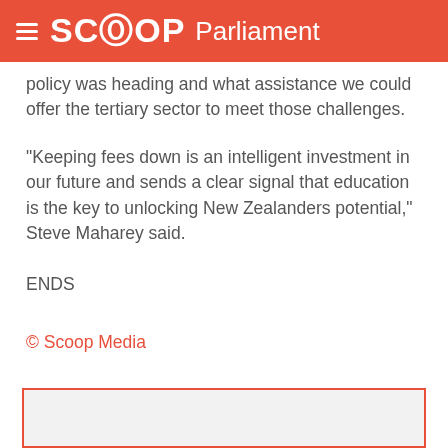SCOOP Parliament
policy was heading and what assistance we could offer the tertiary sector to meet those challenges.
"Keeping fees down is an intelligent investment in our future and sends a clear signal that education is the key to unlocking New Zealanders potential," Steve Maharey said.
ENDS
© Scoop Media